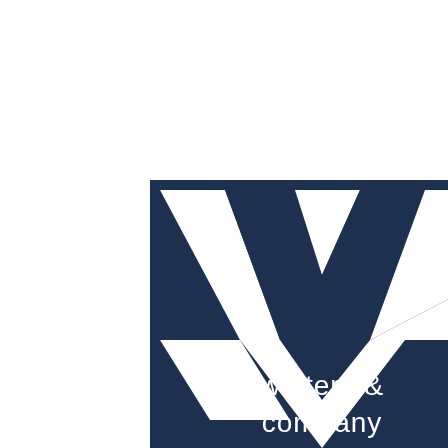[Figure (logo): Walters & Company logo: a dark navy blue square containing a large stylized white 'W' lettermark, with the text 'walters & company' in white lowercase sans-serif font in the lower right portion of the square.]